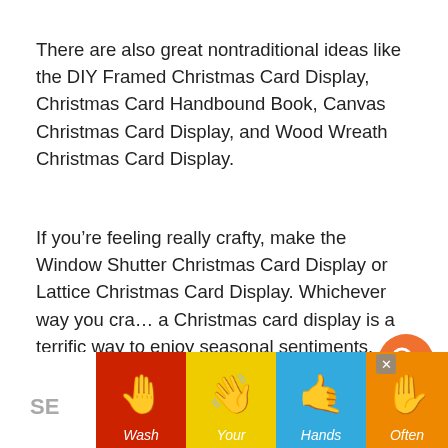There are also great nontraditional ideas like the DIY Framed Christmas Card Display, Christmas Card Handbound Book, Canvas Christmas Card Display, and Wood Wreath Christmas Card Display.
If you're feeling really crafty, make the Window Shutter Christmas Card Display or Lattice Christmas Card Display. Whichever way you cra... a Christmas card display is a terrific way to enjoy seasonal sentiments.
[Figure (other): Orange circular search button UI overlay with magnifying glass icon]
[Figure (other): Teal circular heart/favorite button UI overlay]
39
[Figure (other): Advertisement banner: Wash Your Hands Often with hand washing emoji illustrations on colorful background panels (red, yellow, cyan, yellow, red). Close button X visible.]